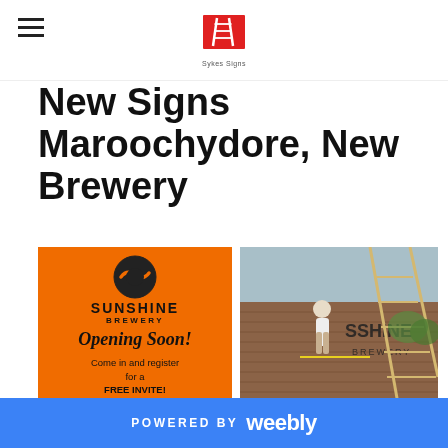Sykes Signs
New Signs Maroochydore, New Brewery
[Figure (photo): Orange sign for Sunshine Brewery reading 'Opening Soon! Come in and register for a FREE INVITE']
[Figure (photo): Person on ladder installing Sunshine Brewery sign on brown corrugated building exterior]
[Figure (photo): Tall brown pylon sign for Sunshine Brewery against sky with trees]
POWERED BY weebly